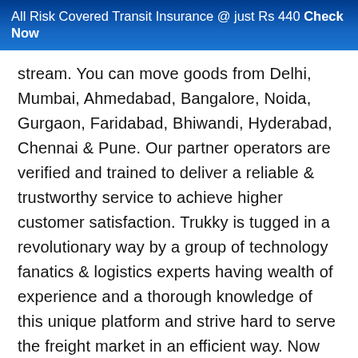All Risk Covered Transit Insurance @ just Rs 440 Check Now
stream. You can move goods from Delhi, Mumbai, Ahmedabad, Bangalore, Noida, Gurgaon, Faridabad, Bhiwandi, Hyderabad, Chennai & Pune. Our partner operators are verified and trained to deliver a reliable & trustworthy service to achieve higher customer satisfaction. Trukky is tugged in a revolutionary way by a group of technology fanatics & logistics experts having wealth of experience and a thorough knowledge of this unique platform and strive hard to serve the freight market in an efficient way. Now no more haggle or wrangle for transporting your goods and we would like to say that it's time to "Truck it Easy" with Trukky.